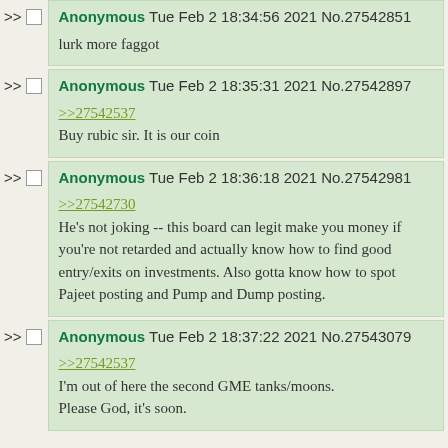Anonymous Tue Feb 2 18:34:56 2021 No.27542851
lurk more faggot
Anonymous Tue Feb 2 18:35:31 2021 No.27542897
>>27542537
Buy rubic sir. It is our coin
Anonymous Tue Feb 2 18:36:18 2021 No.27542981
>>27542730
He's not joking -- this board can legit make you money if you're not retarded and actually know how to find good entry/exits on investments. Also gotta know how to spot Pajeet posting and Pump and Dump posting.
Anonymous Tue Feb 2 18:37:22 2021 No.27543079
>>27542537
I'm out of here the second GME tanks/moons. Please God, it's soon.